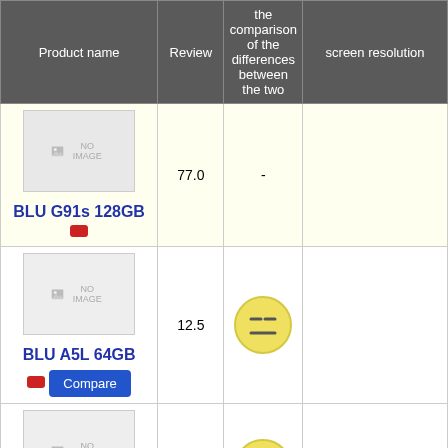| Product name | Review | the comparison of the differences between the two | screen resolution |
| --- | --- | --- | --- |
| BLU G91s 128GB | 77.0 | - |  |
| BLU A5L 64GB | 12.5 | [neutral face] |  |
| BLU G61 64GB | 49.1 | [neutral face] |  |